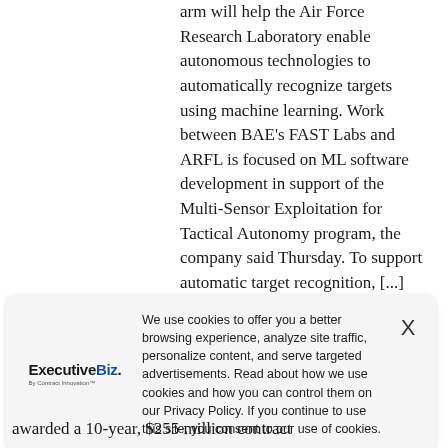arm will help the Air Force Research Laboratory enable autonomous technologies to automatically recognize targets using machine learning. Work between BAE's FAST Labs and ARFL is focused on ML software development in support of the Multi-Sensor Exploitation for Tactical Autonomy program, the company said Thursday. To support automatic target recognition, [...] MORE
by Christine Thropp
June 24, 2022, 11:59 am
We use cookies to offer you a better browsing experience, analyze site traffic, personalize content, and serve targeted advertisements. Read about how we use cookies and how you can control them on our Privacy Policy. If you continue to use this site, you consent to our use of cookies.
awarded a 10-year, $255 million contract